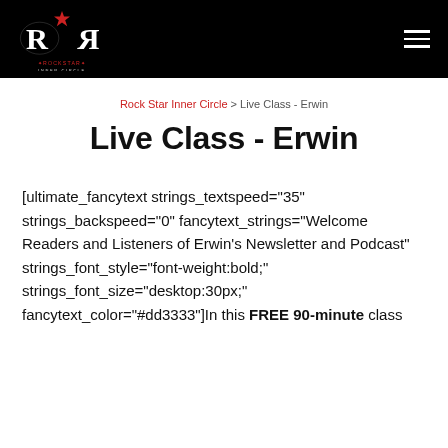Rock Star Inner Circle [logo and navigation bar]
Rock Star Inner Circle > Live Class - Erwin
Live Class - Erwin
[ultimate_fancytext strings_textspeed="35" strings_backspeed="0" fancytext_strings="Welcome Readers and Listeners of Erwin's Newsletter and Podcast" strings_font_style="font-weight:bold;" strings_font_size="desktop:30px;" fancytext_color="#dd3333"]In this FREE 90-minute class